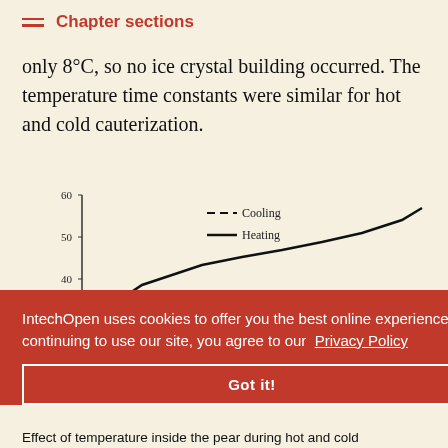Chapter sections
only 8°C, so no ice crystal building occurred. The temperature time constants were similar for hot and cold cauterization.
[Figure (line-chart): Line chart showing Cooling (dashed) decreasing from ~30 to ~13°C and Heating (solid) increasing from ~30 to ~57°C over time. Y-axis ranges 20-60, x-axis shows values near 31 and 36.]
Effect of temperature inside the pear during hot and cold